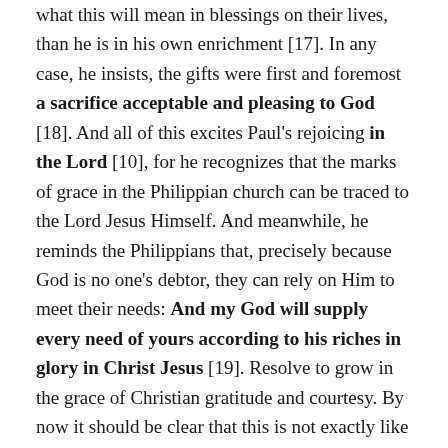what this will mean in blessings on their lives, than he is in his own enrichment [17]. In any case, he insists, the gifts were first and foremost a sacrifice acceptable and pleasing to God [18]. And all of this excites Paul's rejoicing in the Lord [10], for he recognizes that the marks of grace in the Philippian church can be traced to the Lord Jesus Himself. And meanwhile, he reminds the Philippians that, precisely because God is no one's debtor, they can rely on Him to meet their needs: And my God will supply every need of yours according to his riches in glory in Christ Jesus [19]. Resolve to grow in the grace of Christian gratitude and courtesy. By now it should be clear that this is not exactly like the gratitude and courtesy commonly associated with good breeding or good training. The categories are different; the values are not merely formal; even the forms are a little